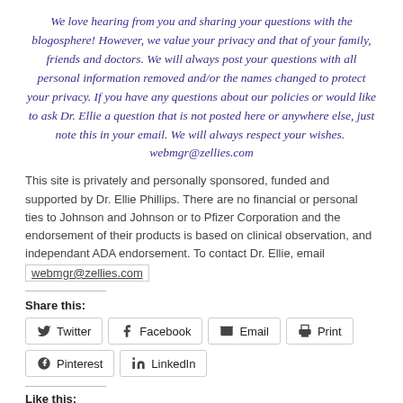We love hearing from you and sharing your questions with the blogosphere! However, we value your privacy and that of your family, friends and doctors. We will always post your questions with all personal information removed and/or the names changed to protect your privacy. If you have any questions about our policies or would like to ask Dr. Ellie a question that is not posted here or anywhere else, just note this in your email. We will always respect your wishes.  webmgr@zellies.com
This site is privately and personally sponsored, funded and supported by Dr. Ellie Phillips. There are no financial or personal ties to Johnson and Johnson or to Pfizer Corporation and the endorsement of their products is based on clinical observation, and independant ADA endorsement. To contact Dr. Ellie, email
webmgr@zellies.com
Share this:
Twitter Facebook Email Print Pinterest LinkedIn
Like this: